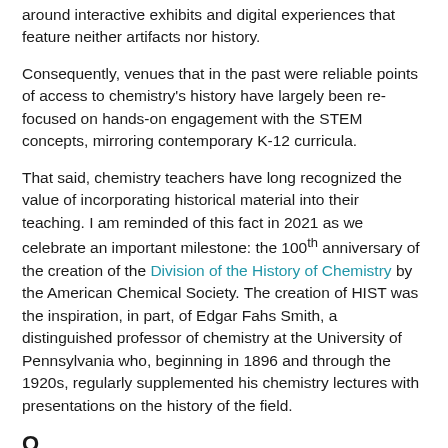around interactive exhibits and digital experiences that feature neither artifacts nor history.
Consequently, venues that in the past were reliable points of access to chemistry's history have largely been re-focused on hands-on engagement with the STEM concepts, mirroring contemporary K-12 curricula.
That said, chemistry teachers have long recognized the value of incorporating historical material into their teaching. I am reminded of this fact in 2021 as we celebrate an important milestone: the 100th anniversary of the creation of the Division of the History of Chemistry by the American Chemical Society. The creation of HIST was the inspiration, in part, of Edgar Fahs Smith, a distinguished professor of chemistry at the University of Pennsylvania who, beginning in 1896 and through the 1920s, regularly supplemented his chemistry lectures with presentations on the history of the field.
Over a hundred...